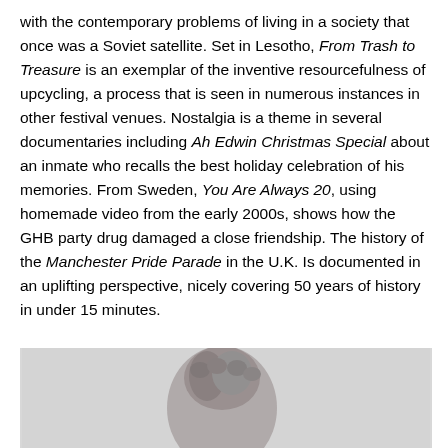with the contemporary problems of living in a society that once was a Soviet satellite. Set in Lesotho, From Trash to Treasure is an exemplar of the inventive resourcefulness of upcycling, a process that is seen in numerous instances in other festival venues. Nostalgia is a theme in several documentaries including Ah Edwin Christmas Special about an inmate who recalls the best holiday celebration of his memories. From Sweden, You Are Always 20, using homemade video from the early 2000s, shows how the GHB party drug damaged a close friendship. The history of the Manchester Pride Parade in the U.K. Is documented in an uplifting perspective, nicely covering 50 years of history in under 15 minutes.
[Figure (photo): Grayscale photograph of a person with braided/twisted hair, shown from behind or at an angle, against a light gray background. Only the head and upper portion are visible.]